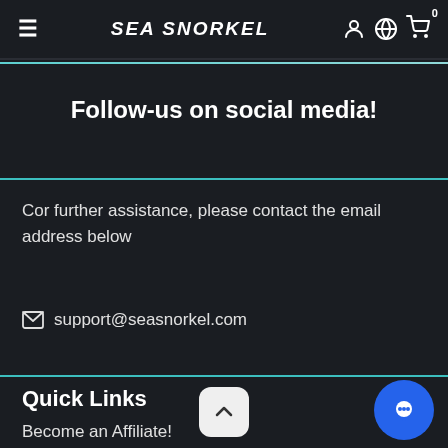SEA SNORKEL
Follow-us on social media!
Cor further assistance, please contact the email address below
✉ support@seasnorkel.com
Quick Links
Become an Affiliate!